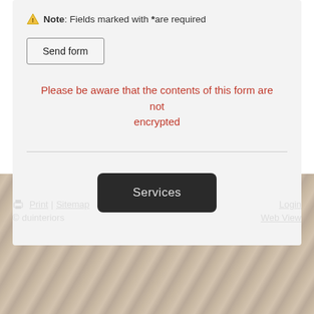Note: Fields marked with * are required
Send form
Please be aware that the contents of this form are not encrypted
Services
Print | Sitemap
© duinteriors
Login
Web View